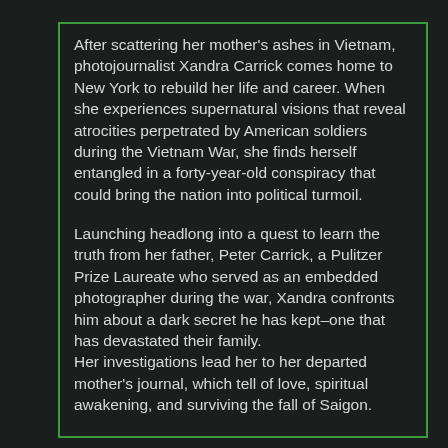After scattering her mother's ashes in Vietnam, photojournalist Xandra Carrick comes home to New York to rebuild her life and career. When she experiences supernatural visions that reveal atrocities perpetrated by American soldiers during the Vietnam War, she finds herself entangled in a forty-year-old conspiracy that could bring the nation into political turmoil.
Launching headlong into a quest to learn the truth from her father, Peter Carrick, a Pulitzer Prize Laureate who served as an embedded photographer during the war, Xandra confronts him about a dark secret he has kept–one that has devastated their family. Her investigations lead her to her departed mother's journal, which tell of love, spiritual awakening, and surviving the fall of Saigon.
Pursued across the continent, Xandra comes